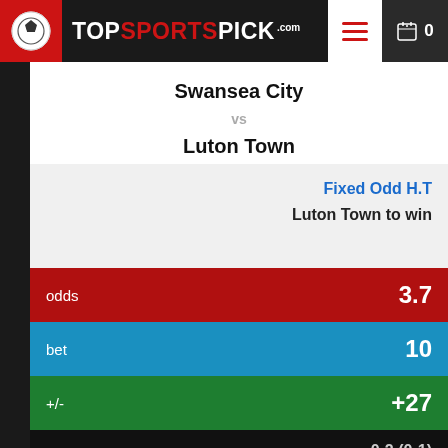TopSportsPick.com
Swansea City vs Luton Town
Fixed Odd H.T
Luton Town to win
| label | value |
| --- | --- |
| odds | 3.7 |
| bet | 10 |
| +/- | +27 |
0-2 (0-1)